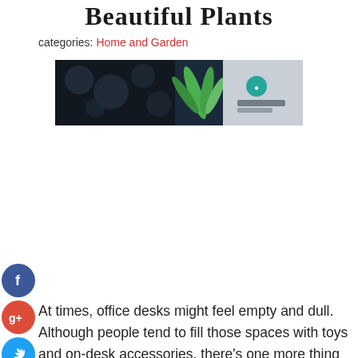Beautiful Plants
categories: Home and Garden
[Figure (photo): Banner image of office plants on a desk with dark background and green plant, company logo visible on right side]
[Figure (infographic): Social media sharing icons: Facebook (blue circle with f), Google+ (red circle with g+), Twitter (blue circle with bird), Add/Share (dark circle with +)]
At times, office desks might feel empty and dull. Although people tend to fill those spaces with toys and on-desk accessories, there's one more thing that works much